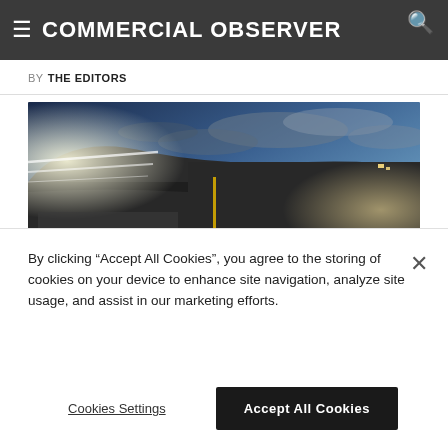COMMERCIAL OBSERVER
BY THE EDITORS
[Figure (photo): Wide-angle panoramic view of a packed baseball stadium at dusk, with stadium lights illuminating the field and crowd, bright light streaks along the upper deck, dramatic blue cloudy sky above.]
By clicking “Accept All Cookies”, you agree to the storing of cookies on your device to enhance site navigation, analyze site usage, and assist in our marketing efforts.
Cookies Settings
Accept All Cookies